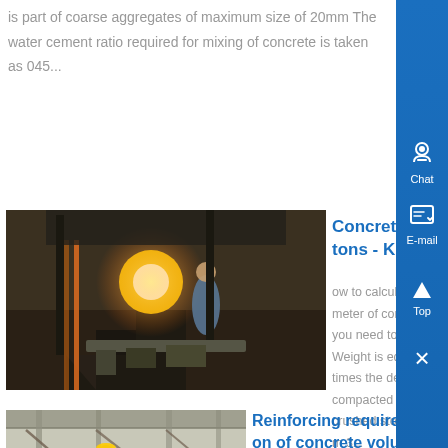is part of coarse aggregates of maximum size of 20mm The water cement ratio required for mixing of concrete is taken as 045...
[Figure (photo): Industrial workers near machinery with bright light/welding]
Concrete from m3 to kg and tons - Know More
ow to calculate the weight or mass of a cubic meter of concrete? To determine the weight, you need to know the total volume of concrete Weight is equal to the volume of concrete times the density The average density of compacted vibrated concrete on gravel or crushed stone from natural stone is 2400 kg / m 3...
[Figure (photo): Construction site with worker in reinforced concrete structure]
Reinforcing requirements based on of concrete volume - Know More